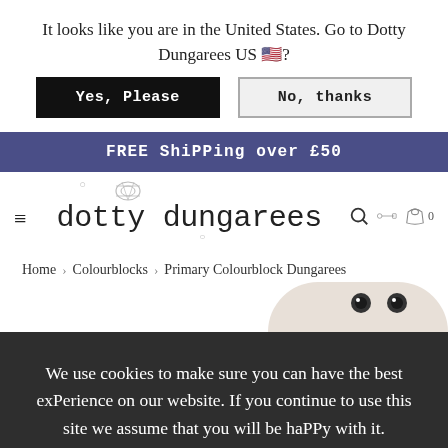It looks like you are in the United States. Go to Dotty Dungarees US 🇺🇸?
Yes, Please | No, thanks
FREE ShiPPing over £50
[Figure (logo): Dotty Dungarees logo with bee illustration, typewriter-style font reading 'dotty dungarees', search icon, key icon, basket icon with 0]
Home > Colourblocks > Primary Colourblock Dungarees
We use cookies to make sure you can have the best exPerience on our website. If you continue to use this site we assume that you will be haPPy with it.
I Agree